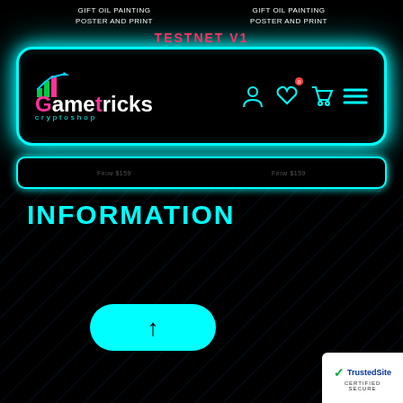[Figure (screenshot): Gametricks Cryptoshop website header with cyan neon border navigation bar, logo, and icons on black background]
TESTNET V1
Gift Oil Painting
Poster And Print
INFORMATION
About Us
News
DPA
Cookies
Bitcoin
™®
California
Terms
Privacy
FAQ
SCC
Refund
Collections
Tracking
Shipping
Feedback
Help
CCPA
Disclaim
[Figure (logo): TrustedSite Certified Secure badge]